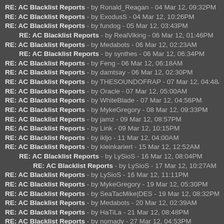RE: AC Blacklist Reports - by Ronald_Reagan - 04 Mar 12, 09:32PM
RE: AC Blacklist Reports - by ExodusS - 04 Mar 12, 10:26PM
RE: AC Blacklist Reports - by fundog - 05 Mar 12, 03:43PM
RE: AC Blacklist Reports - by RealViking - 06 Mar 12, 01:46PM
RE: AC Blacklist Reports - by Medabots - 06 Mar 12, 02:23AM
RE: AC Blacklist Reports - by synthes - 06 Mar 12, 06:34PM
RE: AC Blacklist Reports - by Feng - 06 Mar 12, 06:18AM
RE: AC Blacklist Reports - by damtsay - 06 Mar 12, 02:30PM
RE: AC Blacklist Reports - by THESOUNDOFRAP - 07 Mar 12, 04:48AM
RE: AC Blacklist Reports - by Oracle - 07 Mar 12, 05:00AM
RE: AC Blacklist Reports - by WhiteBlade - 07 Mar 12, 04:56PM
RE: AC Blacklist Reports - by MykeGregory - 08 Mar 12, 09:33PM
RE: AC Blacklist Reports - by jamz - 09 Mar 12, 08:57PM
RE: AC Blacklist Reports - by Link - 09 Mar 12, 10:15PM
RE: AC Blacklist Reports - by ikljo - 11 Mar 12, 04:00AM
RE: AC Blacklist Reports - by kleinkariert - 15 Mar 12, 12:52AM
RE: AC Blacklist Reports - by LySioS - 16 Mar 12, 08:04PM
RE: AC Blacklist Reports - by LySioS - 17 Mar 12, 10:27AM
RE: AC Blacklist Reports - by LySioS - 16 Mar 12, 11:11PM
RE: AC Blacklist Reports - by MykeGregory - 19 Mar 12, 05:30PM
RE: AC Blacklist Reports - by SeaTacMike|DES - 19 Mar 12, 08:32PM
RE: AC Blacklist Reports - by Medabots - 20 Mar 12, 02:39AM
RE: AC Blacklist Reports - by HaTiLa - 21 Mar 12, 08:48PM
RE: AC Blacklist Reports - by nomady - 27 Mar 12, 04:53PM
RE: AC Blacklist Reports - by MykeGregory - 29 Mar 12, 01:36PM